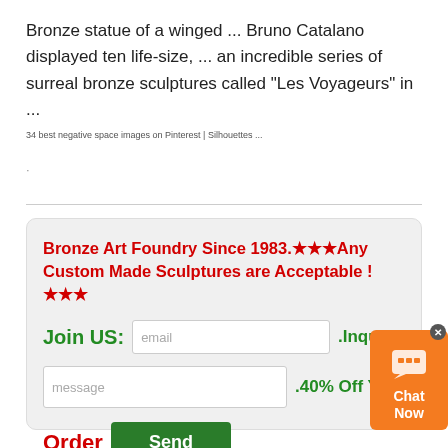Bronze statue of a winged ... Bruno Catalano displayed ten life-size, ... an incredible series of surreal bronze sculptures called "Les Voyageurs" in ...
34 best negative space images on Pinterest | Silhouettes ...
. . . .
Bronze Art Foundry Since 1983.★★★Any Custom Made Sculptures are Acceptable !★★★
Join US:  .Inquiry:
.40% Off Your
Order  Send